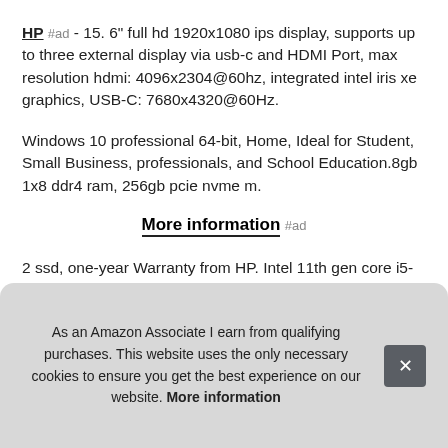HP #ad - 15. 6" full hd 1920x1080 ips display, supports up to three external display via usb-c and HDMI Port, max resolution hdmi: 4096x2304@60hz, integrated intel iris xe graphics, USB-C: 7680x4320@60Hz.
Windows 10 professional 64-bit, Home, Ideal for Student, Small Business, professionals, and School Education.8gb 1x8 ddr4 ram, 256gb pcie nvme m.
More information #ad
2 ssd, one-year Warranty from HP. Intel 11th gen core i5-113… cac… type… 1 x …
As an Amazon Associate I earn from qualifying purchases. This website uses the only necessary cookies to ensure you get the best experience on our website. More information